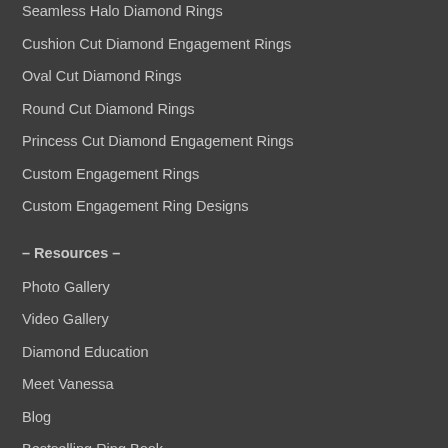Seamless Halo Diamond Rings
Cushion Cut Diamond Engagement Rings
Oval Cut Diamond Rings
Round Cut Diamond Rings
Princess Cut Diamond Engagement Rings
Custom Engagement Rings
Custom Engagement Ring Designs
– Resources –
Photo Gallery
Video Gallery
Diamond Education
Meet Vanessa
Blog
Bestselling Ring Book
Choosing Wedding Bands
Ring Care & Maintenance